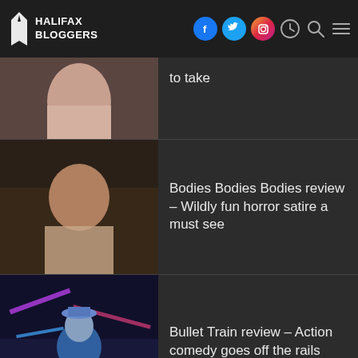HALIFAX BLOGGERS
to take
Bodies Bodies Bodies review – Wildly fun horror satire a must see
Bullet Train review – Action comedy goes off the rails
Emily the Criminal review – Fierce thriller burns with social commentary